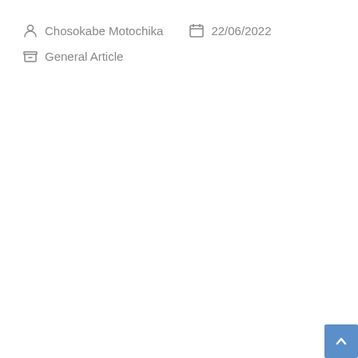Chosokabe Motochika  22/06/2022
General Article